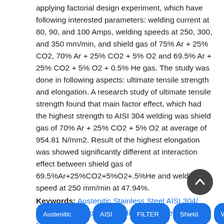applying factorial design experiment, which have following interested parameters: welding current at 80, 90, and 100 Amps, welding speeds at 250, 300, and 350 mm/min, and shield gas of 75% Ar + 25% CO2, 70% Ar + 25% CO2 + 5% O2 and 69.5% Ar + 25% CO2 + 5% O2 + 0.5% He gas. The study was done in following aspects: ultimate tensile strength and elongation. A research study of ultimate tensile strength found that main factor effect, which had the highest strength to AISI 304 welding was shield gas of 70% Ar + 25% CO2 + 5% O2 at average of 954.81 N/mm2. Result of the highest elongation was showed significantly different at interaction effect between shield gas of 69.5%Ar+25%CO2+5%O2+.5%He and welding speed at 250 mm/min at 47.94%.
Keywords: Austenitic Stainless Steel AISI 304/ Mechanical Property/ Welding Gas Shield/ Gas Shield.